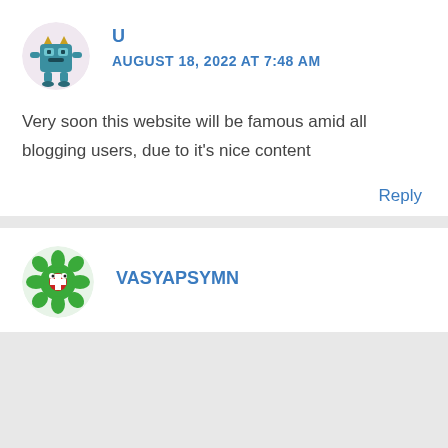[Figure (illustration): Circular avatar with pixel-art blue monster character]
U
AUGUST 18, 2022 AT 7:48 AM
Very soon this website will be famous amid all blogging users, due to it's nice content
Reply
[Figure (illustration): Circular avatar with pixel-art green flower/plant monster character]
VASYAPSYMN